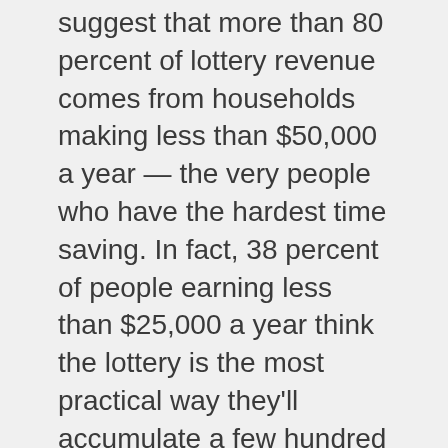suggest that more than 80 percent of lottery revenue comes from households making less than $50,000 a year — the very people who have the hardest time saving. In fact, 38 percent of people earning less than $25,000 a year think the lottery is the most practical way they'll accumulate a few hundred thousand dollars in their lifetimes, according to the Consumer Federation of America.
To redirect that money, the credit unions explored how they could blend the excitement of the lottery with the certainty of socking away cash. After